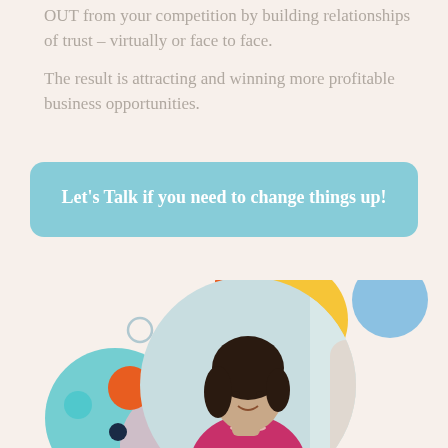OUT from your competition by building relationships of trust – virtually or face to face.

The result is attracting and winning more profitable business opportunities.
Let's Talk if you need to change things up!
[Figure (illustration): A professional woman with dark hair wearing a magenta/pink turtleneck sweater and pearl necklace, seated in a white chair near a window, depicted inside a circular crop. Surrounding the circle are colorful decorative dots in teal, yellow, orange, navy, coral pink, and light blue.]